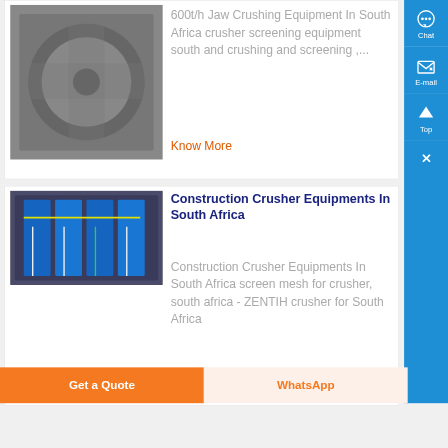[Figure (photo): Industrial fan or motor equipment photo (partially visible, gray/metallic)]
600t/h Jaw Crushing Equipment In South Africa crusher screening equipment south and crushing and screening ,...
Know More
[Figure (photo): Electrical panel or circuit breaker box with wiring, blue components]
Construction Crusher Equipments In South Africa
Construction Crusher Equipments In South Africa screen mesh for crusher, south africa - ZENTIH crusher for  South Africa
Get a Quote
WhatsApp